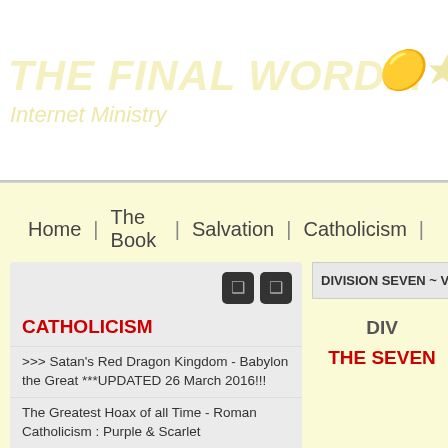THE FINAL WORD... Internet Ministry
Home | The Book | Salvation | Catholicism |
CATHOLICISM
>>> Satan's Red Dragon Kingdom - Babylon the Great ***UPDATED 26 March 2016!!!
The Greatest Hoax of all Time - Roman Catholicism : Purple & Scarlet
Apostolic Succession is a Complete Fabrication
FAQ: Frequently Asked Questions
DIVISION SEVEN ~ VICTORY A
DIV
THE SEVEN